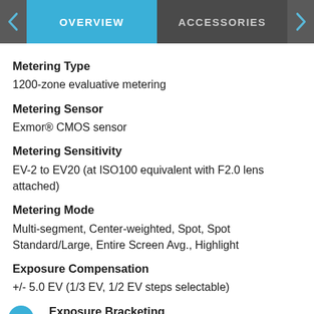OVERVIEW | ACCESSORIES
Metering Type
1200-zone evaluative metering
Metering Sensor
Exmor® CMOS sensor
Metering Sensitivity
EV-2 to EV20 (at ISO100 equivalent with F2.0 lens attached)
Metering Mode
Multi-segment, Center-weighted, Spot, Spot Standard/Large, Entire Screen Avg., Highlight
Exposure Compensation
+/- 5.0 EV (1/3 EV, 1/2 EV steps selectable)
Exposure Bracketing
Bracket: Cont., Bracket: Single, 3/5/9 frames selectable